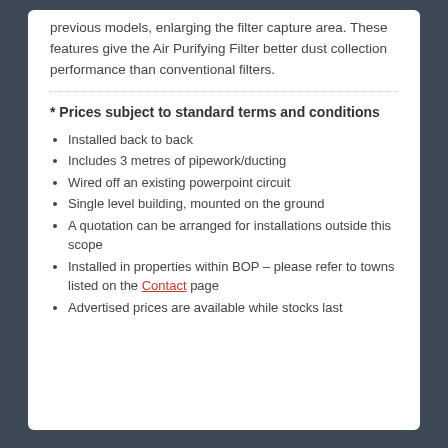previous models, enlarging the filter capture area. These features give the Air Purifying Filter better dust collection performance than conventional filters.
* Prices subject to standard terms and conditions
Installed back to back
Includes 3 metres of pipework/ducting
Wired off an existing powerpoint circuit
Single level building, mounted on the ground
A quotation can be arranged for installations outside this scope
Installed in properties within BOP – please refer to towns listed on the Contact page
Advertised prices are available while stocks last